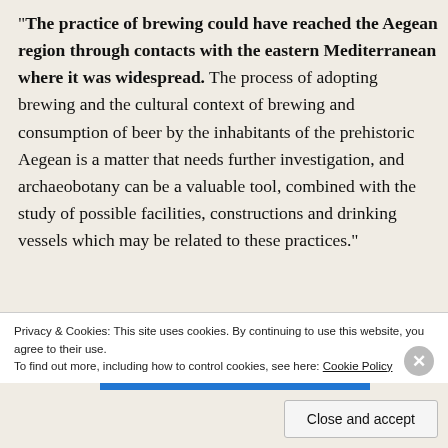"The practice of brewing could have reached the Aegean region through contacts with the eastern Mediterranean where it was widespread. The process of adopting brewing and the cultural context of brewing and consumption of beer by the inhabitants of the prehistoric Aegean is a matter that needs further investigation, and archaeobotany can be a valuable tool, combined with the study of possible facilities, constructions and drinking vessels which may be related to these practices."
Advertisements
[Figure (other): Blue advertisement banner with white text partially visible]
Privacy & Cookies: This site uses cookies. By continuing to use this website, you agree to their use.
To find out more, including how to control cookies, see here: Cookie Policy